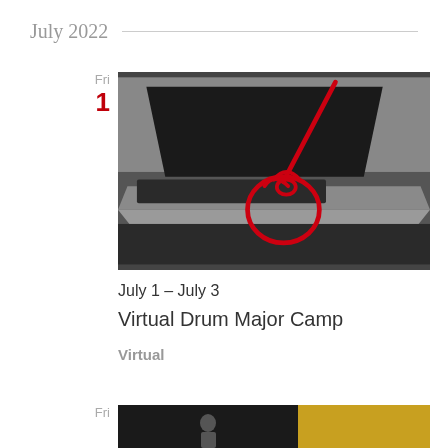July 2022
Fri
1
[Figure (photo): Laptop computer on a dark surface, viewed from the side, with a drawn red baton/conductor's wand illustration overlaid, pointing downward toward a hand gesture drawn in red.]
July 1 – July 3
Virtual Drum Major Camp
Virtual
Fri